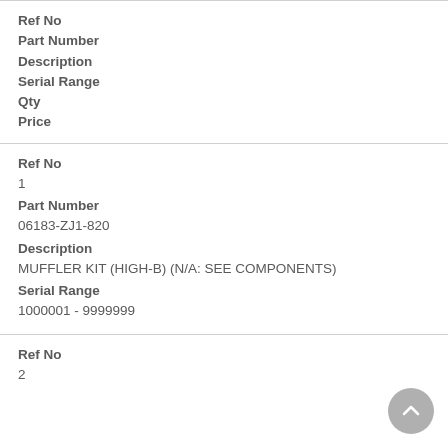Ref No
Part Number
Description
Serial Range
Qty
Price
Ref No
1
Part Number
06183-ZJ1-820
Description
MUFFLER KIT (HIGH-B) (N/A: SEE COMPONENTS)
Serial Range
1000001 - 9999999
Ref No
2